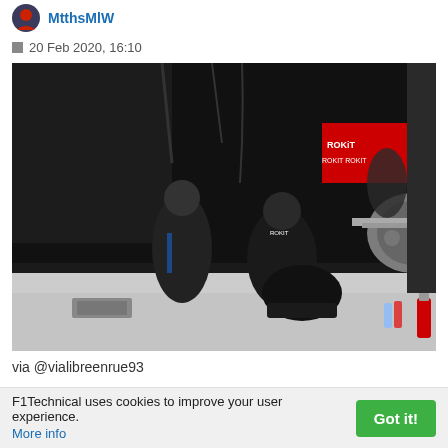MtthsMlW
20 Feb 2020, 16:10
[Figure (photo): Formula 1 pit garage scene showing mechanics in dark uniforms working on an F1 car. Several team members are crouching and kneeling around the front/suspension area of the car. Williams ROKiT branding visible on equipment in the background. A fire extinguisher and water bottles visible on the garage floor.]
via @vialibreenrue93
F1Technical uses cookies to improve your user experience. More info
Got it!